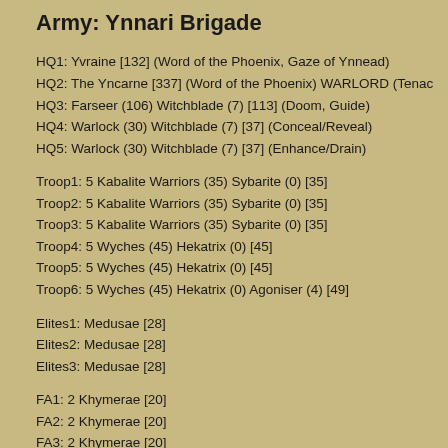Army: Ynnari Brigade
HQ1: Yvraine [132] (Word of the Phoenix, Gaze of Ynnead)
HQ2: The Yncarne [337] (Word of the Phoenix) WARLORD (Tenacious S…
HQ3: Farseer (106) Witchblade (7) [113] (Doom, Guide)
HQ4: Warlock (30) Witchblade (7) [37] (Conceal/Reveal)
HQ5: Warlock (30) Witchblade (7) [37] (Enhance/Drain)
Troop1: 5 Kabalite Warriors (35) Sybarite (0) [35]
Troop2: 5 Kabalite Warriors (35) Sybarite (0) [35]
Troop3: 5 Kabalite Warriors (35) Sybarite (0) [35]
Troop4: 5 Wyches (45) Hekatrix (0) [45]
Troop5: 5 Wyches (45) Hekatrix (0) [45]
Troop6: 5 Wyches (45) Hekatrix (0) Agoniser (4) [49]
Elites1: Medusae [28]
Elites2: Medusae [28]
Elites3: Medusae [28]
FA1: 2 Khymerae [20]
FA2: 2 Khymerae [20]
FA3: 2 Khymerae [20]
HS1: 9 Dark Reapers (45) 9 Reaper Launchers (279) Exarch (0) [324]
HS2: 9 Dark Reapers (39) 9 Reaper Launchers (189) Exarch (0) [316]